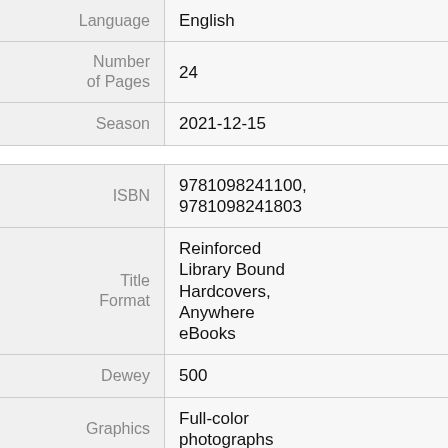| Field | Value |
| --- | --- |
| Language | English |
| Number of Pages | 24 |
| Season | 2021-12-15 |
| ISBN | 9781098241100, 9781098241803 |
| Title Format | Reinforced Library Bound Hardcovers, Anywhere eBooks |
| Dewey | 500 |
| Graphics | Full-color photographs |
| Dimensions | 7.5 x 8.75 |
| Lexile | 620 |
|  | Glossary of key words, Index |